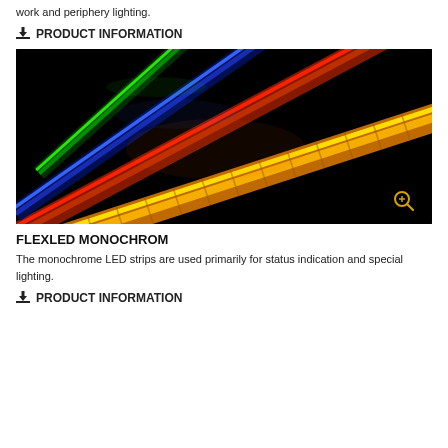work and periphery lighting.
⬇ PRODUCT INFORMATION
[Figure (photo): Photo of four glowing LED light bars on a black background: green, blue, red/orange, and yellow/amber arranged diagonally with a zoom icon in the lower right corner.]
FLEXLED MONOCHROM
The monochrome LED strips are used primarily for status indication and special lighting.
⬇ PRODUCT INFORMATION